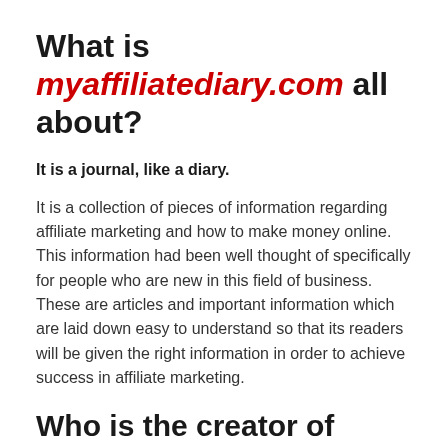What is myaffiliatediary.com all about?
It is a journal, like a diary.
It is a collection of pieces of information regarding affiliate marketing and how to make money online.  This information had been well thought of specifically for people who are new in this field of business. These are articles and important information which are laid down easy to understand so that its readers will be given the right information in order to achieve success in affiliate marketing.
Who is the creator of myaffiliatediary.com?